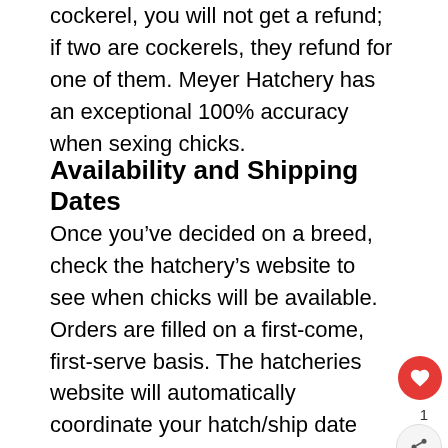cockerel, you will not get a refund; if two are cockerels, they refund for one of them. Meyer Hatchery has an exceptional 100% accuracy when sexing chicks.
Availability and Shipping Dates
Once you’ve decided on a breed, check the hatchery’s website to see when chicks will be available. Orders are filled on a first-come, first-serve basis. The hatcheries website will automatically coordinate your hatch/ship date based on the next soonest availability of each breed you’ve requested so that your entire order will come in one shipment, but if that date doesn’t work for you you can select a new shipping date.